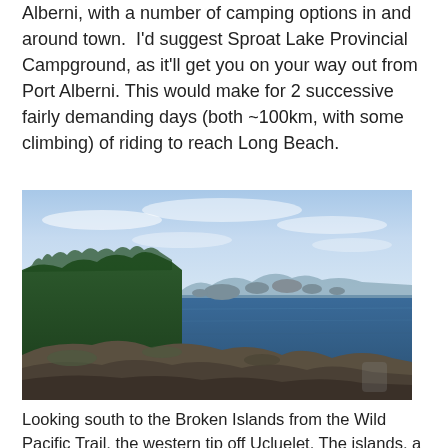Alberni, with a number of camping options in and around town.  I'd suggest Sproat Lake Provincial Campground, as it'll get you on your way out from Port Alberni. This would make for 2 successive fairly demanding days (both ~100km, with some climbing) of riding to reach Long Beach.
[Figure (photo): Coastal seascape looking south to the Broken Islands from the Wild Pacific Trail, near Ucluelet. Rocky shoreline in foreground, small rocky islands in the middle distance, blue water and sky with light clouds.]
Looking south to the Broken Islands from the Wild Pacific Trail, the western tip off Ucluelet. The islands, a paddlers' paradise, are part of the fantastic Pacific